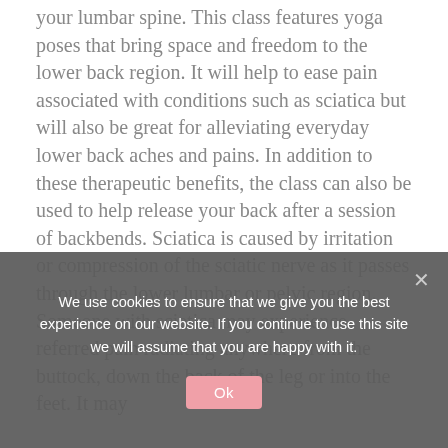your lumbar spine. This class features yoga poses that bring space and freedom to the lower back region. It will help to ease pain associated with conditions such as sciatica but will also be great for alleviating everyday lower back aches and pains. In addition to these therapeutic benefits, the class can also be used to help release your back after a session of backbends. Sciatica is caused by irritation or compression of the sciatic nerve as it passes through the lower lumbar or pelvic region. Someone with sciatica may experience referred pain radiating anywhere from the buttock, down the back of the leg or into the feet. It may
We use cookies to ensure that we give you the best experience on our website. If you continue to use this site we will assume that you are happy with it.
Ok